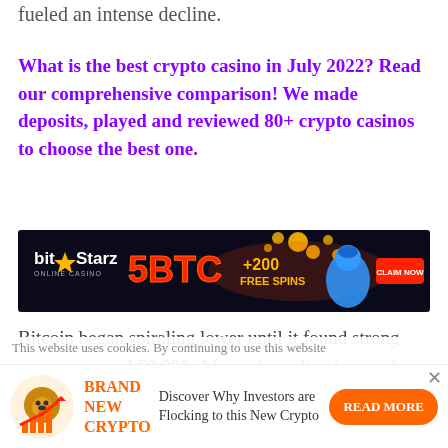fueled an intense decline.
What is the best crypto casino in July 2022? Read our comprehensive comparison! We made deposits, played and reviewed 80+ crypto casinos to choose the best one.
[Figure (other): BitStarz Online Casino advertisement banner: black background with orange/gold coins, text '5BTC +200 FREE SPINS', blue genie character, red 'CLAIM NOW' button, BitStarz logo on left.]
Bitcoin began spiraling lower until it found strong support around $9,000. After rebounding here, it has been consolidating around its current price level.
This website uses cookies. By continuing to use this website
[Figure (other): Bottom advertisement: icon of bear/bull crypto mascot with bar chart, 'BRAND NEW CRYPTO' in orange text, 'Discover Why Investors are Flocking to this New Crypto', orange 'READ MORE' button.]